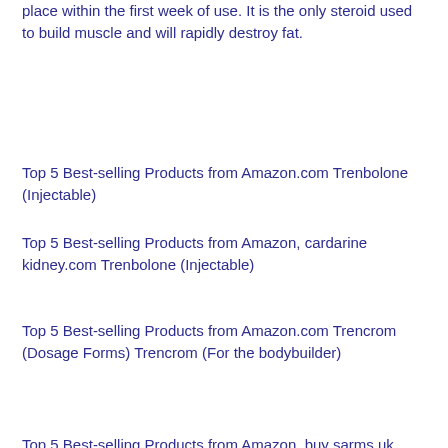place within the first week of use. It is the only steroid used to build muscle and will rapidly destroy fat.
Top 5 Best-selling Products from Amazon.com Trenbolone (Injectable)
Top 5 Best-selling Products from Amazon, cardarine kidney.com Trenbolone (Injectable)
Top 5 Best-selling Products from Amazon.com Trencrom (Dosage Forms) Trencrom (For the bodybuilder)
Top 5 Best-selling Products from Amazon, buy sarms uk online.com Trencrom (Dosage Forms)
Top 5 Best-selling Products from Amazon, best supplement stack 2022.com